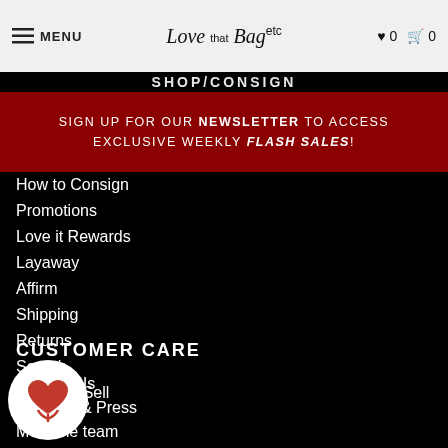MENU | Love that Bag etc | ♥ 0 🛒 0
SHOP/CONSIGN
SIGN UP FOR OUR NEWSLETTER TO ACCESS EXCLUSIVE WEEKLY FLASH SALES!
How to Consign
Promotions
Love it Rewards
Layaway
Affirm
Shipping
Returns
Search
What we Sell
FAQ
CUSTOMER CARE
Contact Us
Reviews & Press
Meet the team
Blog
Authenticity
[Figure (logo): Love that Bag circular logo with red heart and flower symbol on white background]